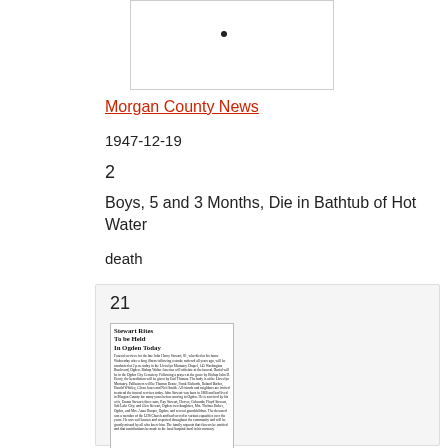[Figure (photo): Small newspaper clipping thumbnail at top, partially visible, with a dot/bullet point visible]
Morgan County News
1947-12-19
2
Boys, 5 and 3 Months, Die in Bathtub of Hot Water
death
21
[Figure (photo): Newspaper clipping thumbnail showing article titled 'Stewart Rites To be Held In Ogden Today' with dense text columns]